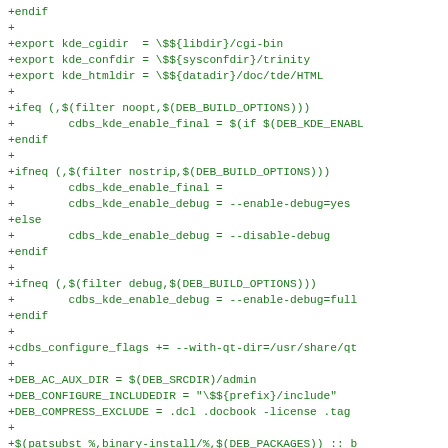Diff code block showing makefile/debian build configuration patch with +endif, +export variables, +ifeq/+ifneq conditionals, and +cdbs_configure_flags settings